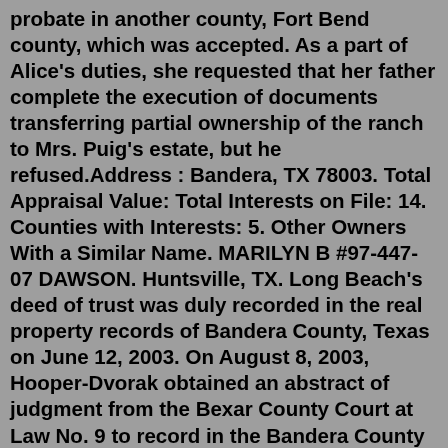probate in another county, Fort Bend county, which was accepted. As a part of Alice's duties, she requested that her father complete the execution of documents transferring partial ownership of the ranch to Mrs. Puig's estate, but he refused.Address : Bandera, TX 78003. Total Appraisal Value: Total Interests on File: 14. Counties with Interests: 5. Other Owners With a Similar Name. MARILYN B #97-447-07 DAWSON. Huntsville, TX. Long Beach's deed of trust was duly recorded in the real property records of Bandera County, Texas on June 12, 2003. On August 8, 2003, Hooper-Dvorak obtained an abstract of judgment from the Bexar County Court at Law No. 9 to record in the Bandera County Real Property Records.contact the Bandera County Extension Office at 830-796-7755. Bennett Trust Stewardship Conference: The second Bennett Trust educational program will take place April 23-24, 2015 at the Inn of the Hills Resort and Conference Center, Kerrville, TX. This first-of-its-kind conference, "Protecting the